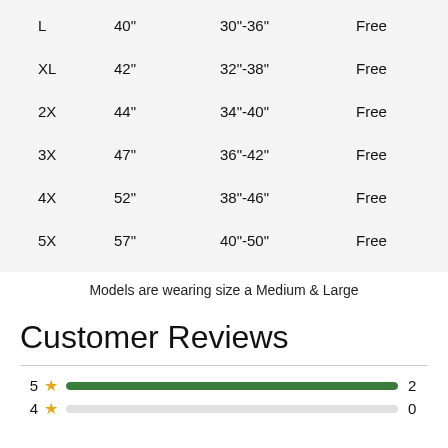| Size | Chest | Waist | Shipping |
| --- | --- | --- | --- |
| L | 40" | 30"-36" | Free |
| XL | 42" | 32"-38" | Free |
| 2X | 44" | 34"-40" | Free |
| 3X | 47" | 36"-42" | Free |
| 4X | 52" | 38"-46" | Free |
| 5X | 57" | 40"-50" | Free |
Models are wearing size a Medium & Large
Customer Reviews
[Figure (bar-chart): Star ratings]